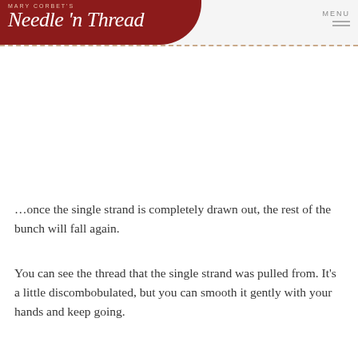Mary Corbett's Needle 'n Thread — MENU
…once the single strand is completely drawn out, the rest of the bunch will fall again.
You can see the thread that the single strand was pulled from. It's a little discombobulated, but you can smooth it gently with your hands and keep going.